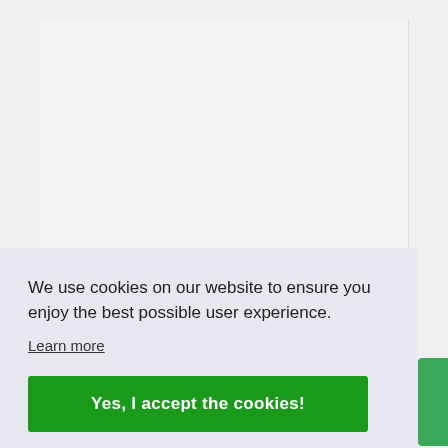[Figure (screenshot): Light gray background representing a webpage with a white/light content area at the top]
We use cookies on our website to ensure you enjoy the best possible user experience.
Learn more
Yes, I accept the cookies!